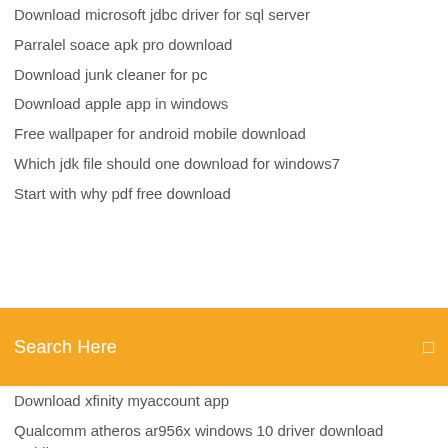Download microsoft jdbc driver for sql server
Parralel soace apk pro download
Download junk cleaner for pc
Download apple app in windows
Free wallpaper for android mobile download
Which jdk file should one download for windows7
Start with why pdf free download
Search Here
Download xfinity myaccount app
Qualcomm atheros ar956x windows 10 driver download toshiba
Officejet 4650 driver download for windows 10
Battle raper pc download english 2
Msg.exe windows 10 home download
Dvdfab hd free open source download full version
Borderlands 2 pc dlc download
Logitech g920 driver download-c920
Mathematics of space leoendre pdf download